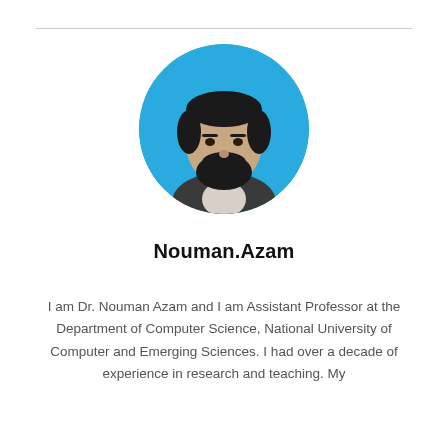[Figure (photo): Circular profile photo of Dr. Nouman Azam, a man with a dark beard wearing a dark jacket, against a teal/cyan background.]
Nouman.Azam
I am Dr. Nouman Azam and I am Assistant Professor at the Department of Computer Science, National University of Computer and Emerging Sciences. I had over a decade of experience in research and teaching. My